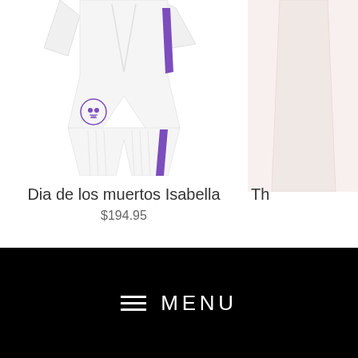[Figure (photo): Partial view of a white martial arts gi/kimono with purple accents and a skull logo on the leg, worn by a model, cropped at top and sides]
Dia de los muertos Isabella
$194.95
[Figure (photo): Partially visible product image on the right side of the page, cropped]
Th
≡ MENU